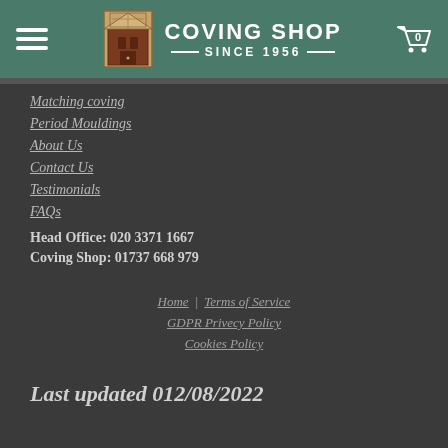COVING SHOP SINCE 1956
Matching coving
Period Mouldings
About Us
Contact Us
Testimonials
FAQs
Head Office: 020 3371 1667
Coving Shop: 01737 668 979
Home | Terms of Service | GDPR Privecy Policy | Cookies Policy
Last updated  012/08/2022